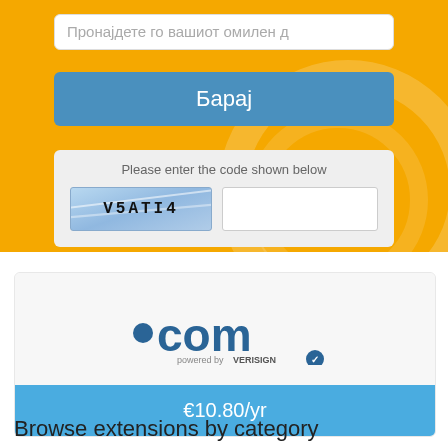[Figure (screenshot): Search bar with Macedonian placeholder text: Пронајдете го вашиот омилен д]
[Figure (screenshot): Blue search button with Macedonian text: Барај]
[Figure (screenshot): CAPTCHA box with text 'Please enter the code shown below' and CAPTCHA image showing V5ATI4]
[Figure (logo): .com logo powered by VERISIGN with price bar showing €10.80/yr]
Browse extensions by category